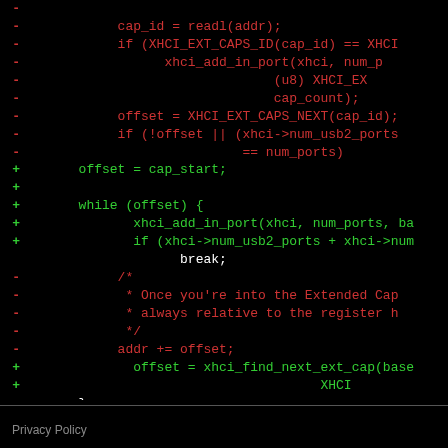[Figure (screenshot): Code diff view on black background showing removed lines (red, prefixed with -) and added lines (green, prefixed with +) of C kernel code related to xhci port initialization. Removed lines include cap_id = readl(addr), XHCI_EXT_CAPS_ID checks, xhci_add_in_port calls, offset = XHCI_EXT_CAPS_NEXT, conditional checks, comment block, and addr += offset. Added lines include offset = cap_start, while(offset) loop, xhci_add_in_port call, conditional, break, and offset = xhci_find_next_ext_cap calls. Followed by closing brace and if statement.]
Privacy Policy